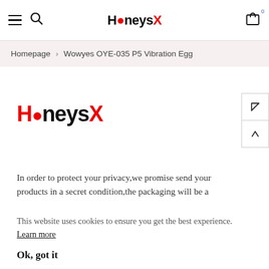HoneysX — navigation bar with hamburger menu, search icon, logo, and cart (0)
Homepage > Wowyes OYE-035 P5 Vibration Egg
[Figure (logo): HoneysX logo in red and black bold text]
In order to protect your privacy,we promise send your products in a secret condition,the packaging will be a
This website uses cookies to ensure you get the best experience. Learn more
Ok, got it